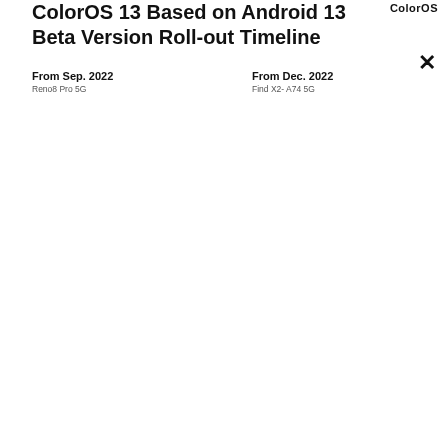ColorOS 13 Based on Android 13 Beta Version Roll-out Timeline
ColorOS
×
From Sep. 2022
Reno8 Pro 5G
From Dec. 2022
Find X2- A74 5G